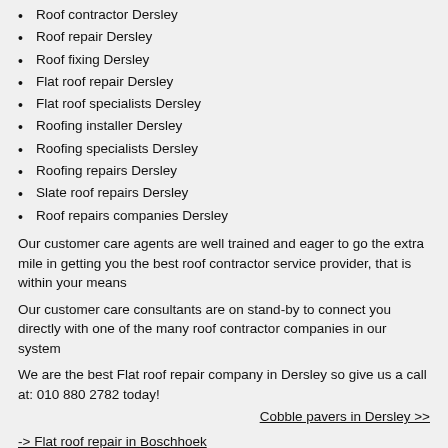Roof contractor Dersley
Roof repair Dersley
Roof fixing Dersley
Flat roof repair Dersley
Flat roof specialists Dersley
Roofing installer Dersley
Roofing specialists Dersley
Roofing repairs Dersley
Slate roof repairs Dersley
Roof repairs companies Dersley
Our customer care agents are well trained and eager to go the extra mile in getting you the best roof contractor service provider, that is within your means
Our customer care consultants are on stand-by to connect you directly with one of the many roof contractor companies in our system
We are the best Flat roof repair company in Dersley so give us a call at: 010 880 2782 today!
Cobble pavers in Dersley >>
-> Flat roof repair in Boschhoek
-> Flat roof repair in Silver View Ridge
-> Flat roof repair in Sylviavale
-> Flat roof repair in Zwartkops